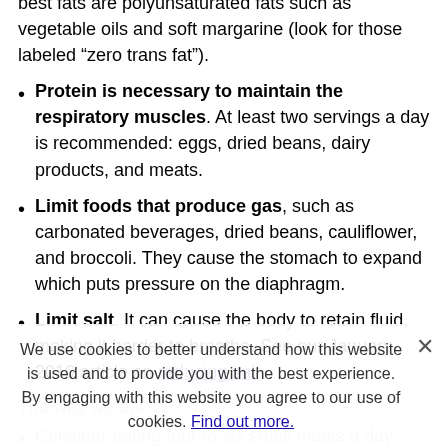best fats are polyunsaturated fats such as vegetable oils and soft margarine (look for those labeled “zero trans fat”).
Protein is necessary to maintain the respiratory muscles. At least two servings a day is recommended: eggs, dried beans, dairy products, and meats.
Limit foods that produce gas, such as carbonated beverages, dried beans, cauliflower, and broccoli. They cause the stomach to expand which puts pressure on the diaphragm.
Limit salt. It can cause the body to retain fluid, making it harder to breathe. See our January 2010 article on reducing salt.
The way we eat
Consider eating four to six small meals a day
We use cookies to better understand how this website is used and to provide you with the best experience. By engaging with this website you agree to our use of cookies. Find out more.